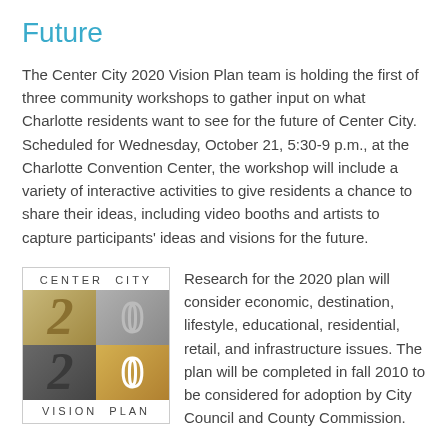Future
The Center City 2020 Vision Plan team is holding the first of three community workshops to gather input on what Charlotte residents want to see for the future of Center City. Scheduled for Wednesday, October 21, 5:30-9 p.m., at the Charlotte Convention Center, the workshop will include a variety of interactive activities to give residents a chance to share their ideas, including video booths and artists to capture participants' ideas and visions for the future.
[Figure (logo): Center City 2020 Vision Plan logo with four quadrant grid showing stylized numbers 2 and 0 in different textures and colors, with 'CENTER CITY' text at top and 'VISION PLAN' at bottom]
Research for the 2020 plan will consider economic, destination, lifestyle, educational, residential, retail, and infrastructure issues. The plan will be completed in fall 2010 to be considered for adoption by City Council and County Commission.

This project is a collaboration between Charlotte Center City Partners, City of